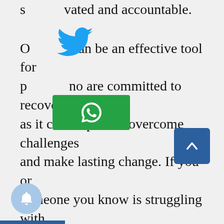s vated and accountable. O can be an effective tool for p who are committed to recovery, as it can help them overcome challenges and make lasting change. If you or someone you know is struggling with addiction, consider finding a recovery coach. With the right support, anyone can overcome addiction and achieve their goals.
[Figure (logo): Twitter bird icon in blue]
[Figure (logo): WhatsApp icon button in green with white phone/chat symbol]
[Figure (other): Scroll-to-top button, dark blue square with white upward chevron arrow]
[Figure (other): Notification bell button, light blue circle with bell icon]